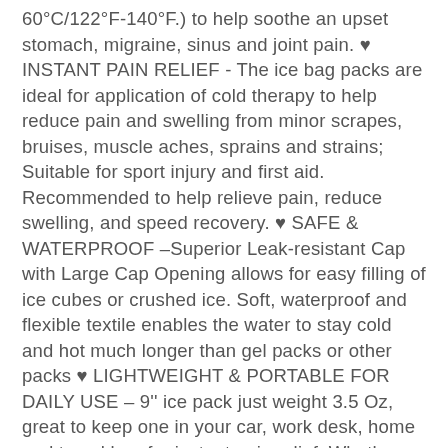60°C/122°F-140°F.) to help soothe an upset stomach, migraine, sinus and joint pain. ♥ INSTANT PAIN RELIEF - The ice bag packs are ideal for application of cold therapy to help reduce pain and swelling from minor scrapes, bruises, muscle aches, sprains and strains; Suitable for sport injury and first aid. Recommended to help relieve pain, reduce swelling, and speed recovery. ♥ SAFE & WATERPROOF –Superior Leak-resistant Cap with Large Cap Opening allows for easy filling of ice cubes or crushed ice. Soft, waterproof and flexible textile enables the water to stay cold and hot much longer than gel packs or other packs ♥ LIGHTWEIGHT & PORTABLE FOR DAILY USE – 9'' ice pack just weight 3.5 Oz, great to keep one in your car, work desk, home and travel bag for instant pain relief. Whether you are experiencing the weekend hangover, headache or aching and soreness from a recent visit to your chiropractor, get the soothing relief from hot or cold therapy right away.